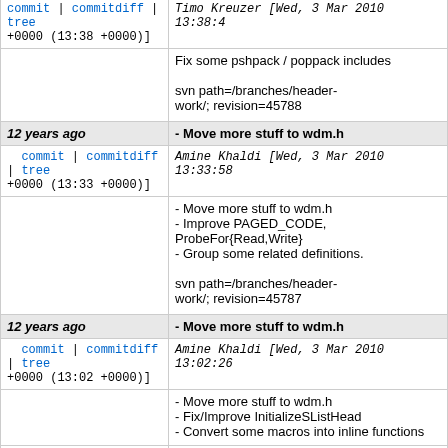commit | commitdiff | tree   Timo Kreuzler [Wed, 3 Mar 2010 13:38:43 +0000 (13:38 +0000)]
Fix some pshpack / poppack includes

svn path=/branches/header-work/; revision=45788
12 years ago    - Move more stuff to wdm.h
commit | commitdiff | tree   Amine Khaldi [Wed, 3 Mar 2010 13:33:58 +0000 (13:33 +0000)]
- Move more stuff to wdm.h
- Improve PAGED_CODE, ProbeFor{Read,Write}
- Group some related definitions.

svn path=/branches/header-work/; revision=45787
12 years ago    - Move more stuff to wdm.h
commit | commitdiff | tree   Amine Khaldi [Wed, 3 Mar 2010 13:02:26 +0000 (13:02 +0000)]
- Move more stuff to wdm.h
- Fix/Improve InitializeSListHead
- Convert some macros into inline functions